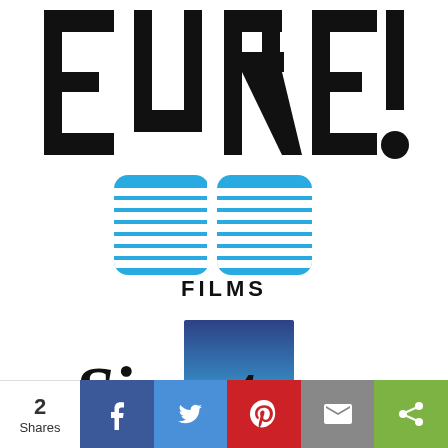[Figure (logo): EUREKA! logo in large bold black text]
[Figure (logo): 88 Films logo with blue horizontally-striped digits 88 and black FILMS text below]
[Figure (logo): Signature Entertainment logo with blue-green gradient square and cursive Signature text]
[Figure (infographic): Social sharing bar with share count 2 Shares, and buttons for Facebook, Twitter, Pinterest, Email, and Share]